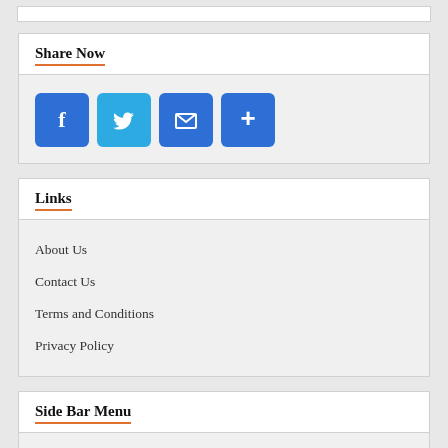Share Now
[Figure (infographic): Social sharing buttons: Facebook, Twitter, Email, More (plus icon)]
Links
About Us
Contact Us
Terms and Conditions
Privacy Policy
Side Bar Menu
Home
Abishid Application Form